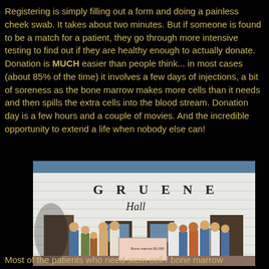Registering is simply filling out a form and doing a painless cheek swab. It takes about two minutes. But if someone is found to be a match for a patient, they go through more intensive testing to find out if they are healthy enough to actually donate. Donation is MUCH easier than people think... in most cases (about 85% of the time) it involves a few days of injections, a bit of soreness as the bone marrow makes more cells than it needs and then spills the extra cells into the blood stream. Donation day is a few hours and a couple of movies. And the incredible opportunity to extend a life when nobody else can!
[Figure (photo): Group of people standing in front of Gruene Hall, a white wooden building with the name 'GRUENE' and 'Hall' painted on it. The group is holding a large ceremonial check.]
Most of the patients who need stem cell / bone marrow